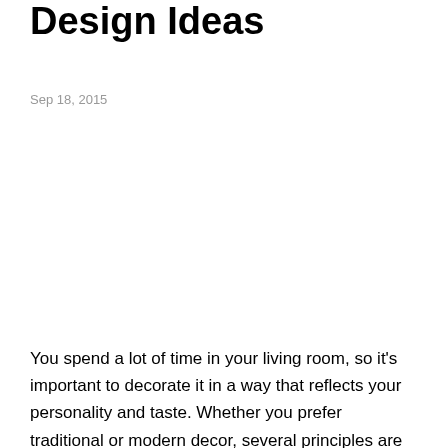Design Ideas
Sep 18, 2015
You spend a lot of time in your living room, so it's important to decorate it in a way that reflects your personality and taste. Whether you prefer traditional or modern decor, several principles are consistent with any successful design. Make a